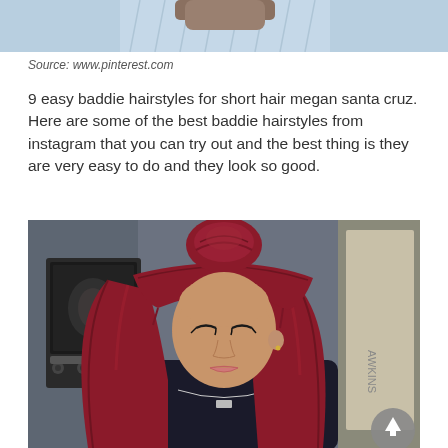[Figure (photo): Partial photo of a person in a denim jacket, cropped at the top of the page]
Source: www.pinterest.com
9 easy baddie hairstyles for short hair megan santa cruz. Here are some of the best baddie hairstyles from instagram that you can try out and the best thing is they are very easy to do and they look so good.
[Figure (photo): Young woman with long red/burgundy hair styled in a half-up bun with bangs, wearing a dark top with a necklace, standing in front of a kitchen with a microwave visible in the background. A circular scroll-to-top button is visible in the lower right.]